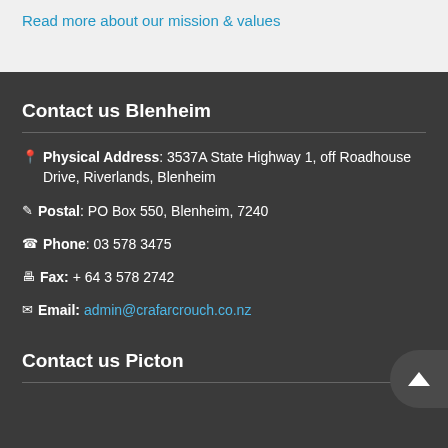Read more about our mission & values
Contact us Blenheim
Physical Address: 3537A State Highway 1, off Roadhouse Drive, Riverlands, Blenheim
Postal: PO Box 550, Blenheim, 7240
Phone: 03 578 3475
Fax: + 64 3 578 2742
Email: admin@crafarcrouch.co.nz
Contact us Picton